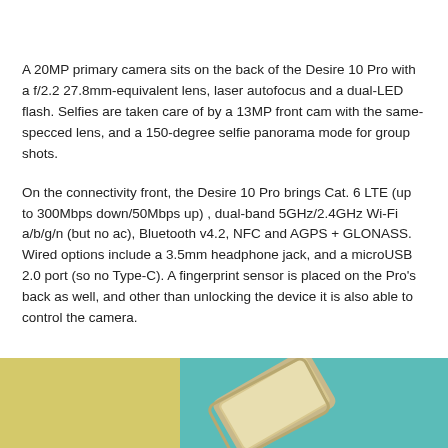A 20MP primary camera sits on the back of the Desire 10 Pro with a f/2.2 27.8mm-equivalent lens, laser autofocus and a dual-LED flash. Selfies are taken care of by a 13MP front cam with the same-specced lens, and a 150-degree selfie panorama mode for group shots.
On the connectivity front, the Desire 10 Pro brings Cat. 6 LTE (up to 300Mbps down/50Mbps up) , dual-band 5GHz/2.4GHz Wi-Fi a/b/g/n (but no ac), Bluetooth v4.2, NFC and AGPS + GLONASS. Wired options include a 3.5mm headphone jack, and a microUSB 2.0 port (so no Type-C). A fingerprint sensor is placed on the Pro's back as well, and other than unlocking the device it is also able to control the camera.
[Figure (photo): Bottom portion of page showing a smartphone resting on a yellow and teal/turquoise surface, partially visible from the bottom of the page.]